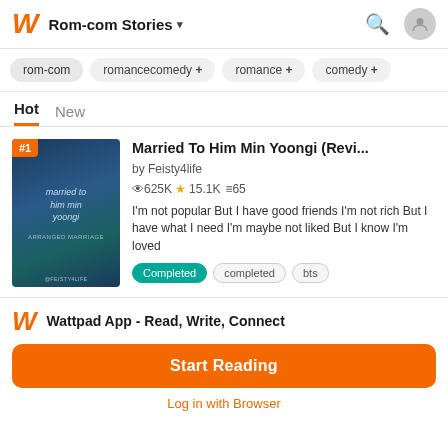Rom-com Stories
rom-com
romancecomedy +
romance +
comedy +
Hot  New
[Figure (photo): Book cover for 'Married To Him Min Yoongi' showing a person in dark clothing with stylized script title text]
Married To Him Min Yoongi (Revi...
by Feisty4life
625K ★15.1Ki≡65
I'm not popular But I have good friends I'm not rich But I have what I need I'm maybe not liked But I know I'm loved
Completed  completed  bts
Wattpad App - Read, Write, Connect
Start Reading
Log in with Browser